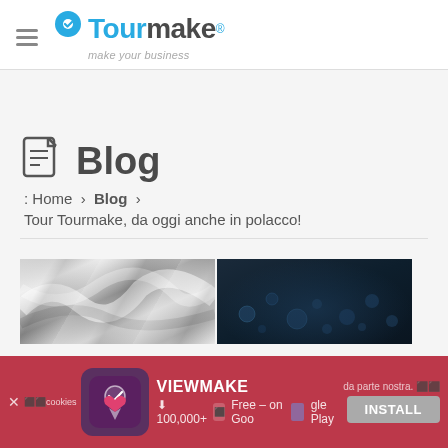[Figure (logo): TourMake logo with location pin icon, tagline 'make your business']
Blog
: Home › Blog ›
Tour Tourmake, da oggi anche in polacco!
[Figure (photo): Two thumbnail images: silver metallic texture and dark blue bubble/water texture]
[Figure (screenshot): App install banner overlay: VIEWMAKE app, 100,000+ downloads, Free on Google Play, INSTALL button, cookies notice]